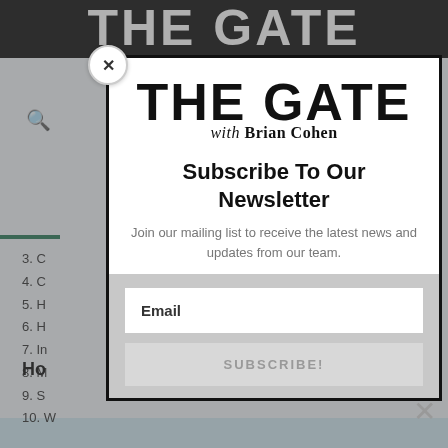[Figure (screenshot): Background webpage showing partial 'THE GATE' header, search icon, hamburger menu, numbered list items (3-10), and bold 'Ho' text, overlaid with a semi-transparent backdrop]
[Figure (screenshot): Modal popup with close X button (circle), THE GATE with Brian Cohen logo, Subscribe To Our Newsletter heading, mailing list description text, Email input field, and SUBSCRIBE! button]
THE GATE
with Brian Cohen
Subscribe To Our Newsletter
Join our mailing list to receive the latest news and updates from our team.
Email
SUBSCRIBE!